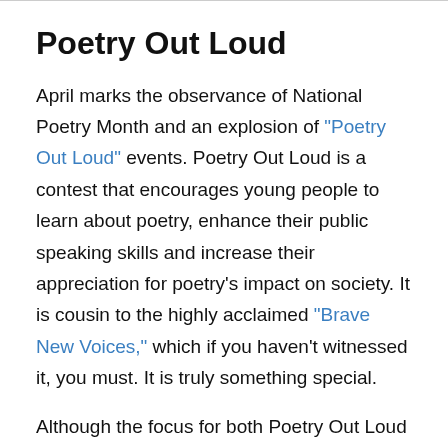Poetry Out Loud
April marks the observance of National Poetry Month and an explosion of "Poetry Out Loud" events. Poetry Out Loud is a contest that encourages young people to learn about poetry, enhance their public speaking skills and increase their appreciation for poetry's impact on society. It is cousin to the highly acclaimed "Brave New Voices," which if you haven't witnessed it, you must. It is truly something special.
Although the focus for both Poetry Out Loud and Brave New Voices is on young people, many adults have embraced Poetry Out Loud especially and twisted it into spin-off events. These events have included poetry discussions, readings, open mics and more. One